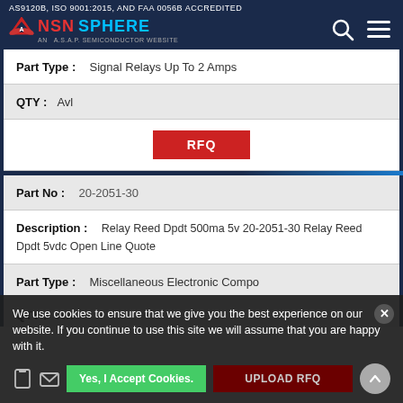AS9120B, ISO 9001:2015, AND FAA 0056B ACCREDITED — NSN SPHERE AN A.S.A.P. SEMICONDUCTOR WEBSITE
| Field | Value |
| --- | --- |
| Part Type : | Signal Relays Up To 2 Amps |
| QTY : | Avl |
|  | RFQ |
| Field | Value |
| --- | --- |
| Part No : | 20-2051-30 |
| Description : | Relay Reed Dpdt 500ma 5v 20-2051-30 Relay Reed Dpdt 5vdc Open Line Quote |
| Part Type : | Miscellaneous Electronic Compo |
| QTY : | Avl |
We use cookies to ensure that we give you the best experience on our website. If you continue to use this site we will assume that you are happy with it.
Yes, I Accept Cookies.
UPLOAD RFQ